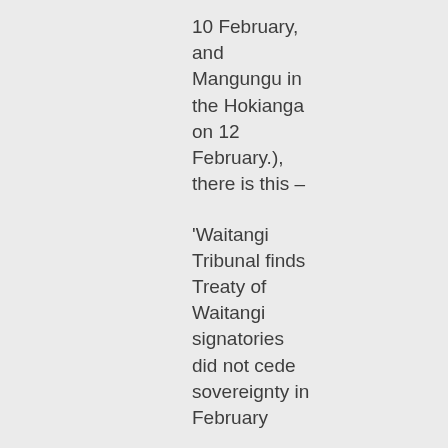10 February, and Mangungu in the Hokianga on 12 February.), there is this –
'Waitangi Tribunal finds Treaty of Waitangi signatories did not cede sovereignty in February